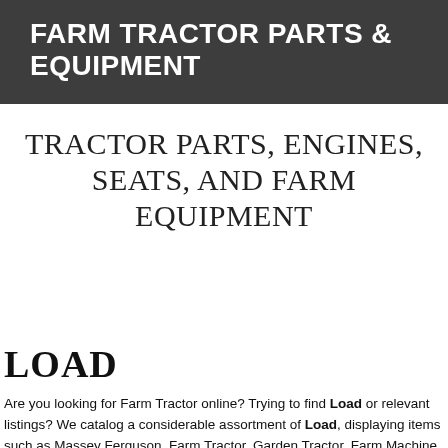FARM TRACTOR PARTS & EQUIPMENT
TRACTOR PARTS, ENGINES, SEATS, AND FARM EQUIPMENT
LOAD
Are you looking for Farm Tractor online? Trying to find Load or relevant listings? We catalog a considerable assortment of Load, displaying items such as Massey Ferguson, Farm Tractor, Garden Tractor, Farm Machine, and much more. Shop our big collection, or try doing a search for a specific